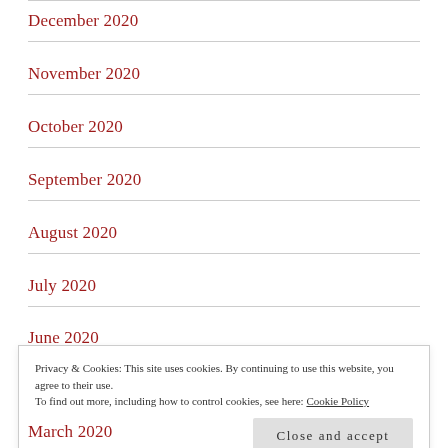December 2020
November 2020
October 2020
September 2020
August 2020
July 2020
June 2020
Privacy & Cookies: This site uses cookies. By continuing to use this website, you agree to their use.
To find out more, including how to control cookies, see here: Cookie Policy
March 2020